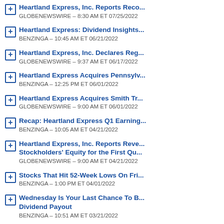Heartland Express, Inc. Reports Reco... | GLOBENEWSWIRE – 8:30 AM ET 07/25/2022
Heartland Express: Dividend Insights... | BENZINGA – 10:45 AM ET 06/21/2022
Heartland Express, Inc. Declares Reg... | GLOBENEWSWIRE – 9:37 AM ET 06/17/2022
Heartland Express Acquires Pennsylv... | BENZINGA – 12:25 PM ET 06/01/2022
Heartland Express Acquires Smith Tr... | GLOBENEWSWIRE – 9:00 AM ET 06/01/2022
Recap: Heartland Express Q1 Earning... | BENZINGA – 10:05 AM ET 04/21/2022
Heartland Express, Inc. Reports Reve... Stockholders' Equity for the First Qu... | GLOBENEWSWIRE – 9:00 AM ET 04/21/2022
Stocks That Hit 52-Week Lows On Fri... | BENZINGA – 1:00 PM ET 04/01/2022
Wednesday Is Your Last Chance To B... Dividend Payout | BENZINGA – 10:51 AM ET 03/21/2022